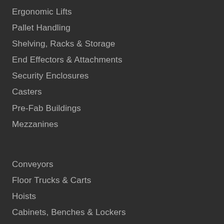Ergonomic Lifts
Pallet Handling
Shelving, Racks & Storage
End Effectors & Attachments
Security Enclosures
Casters
Pre-Fab Buildings
Mezzanines
Conveyors
Floor Trucks & Carts
Hoists
Cabinets, Benches & Lockers
Cranes
Dock Equipment